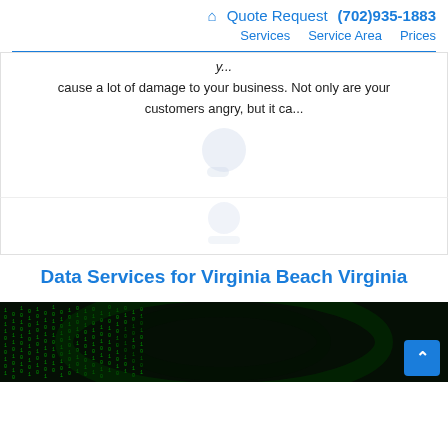🏠 Quote Request (702)935-1883 Services Service Area Prices
cause a lot of damage to your business. Not only are your customers angry, but it ca...
[Figure (illustration): Faded circular placeholder image icon]
[Figure (illustration): Faded circular placeholder image icon in second card]
Data Services for Virginia Beach Virginia
[Figure (photo): Dark matrix-style green code/data visualization background image]